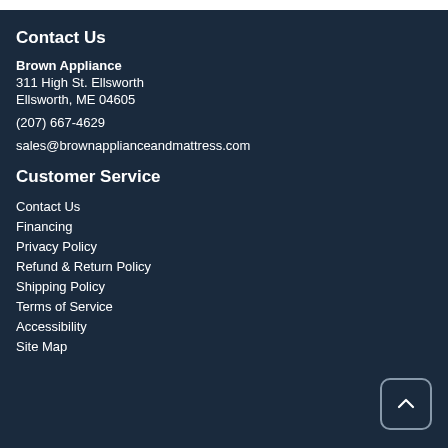Contact Us
Brown Appliance
311 High St. Ellsworth
Ellsworth, ME 04605
(207) 667-4629
sales@brownapplianceandmattress.com
Customer Service
Contact Us
Financing
Privacy Policy
Refund & Return Policy
Shipping Policy
Terms of Service
Accessibility
Site Map
[Figure (other): Back to top button with upward chevron arrow]